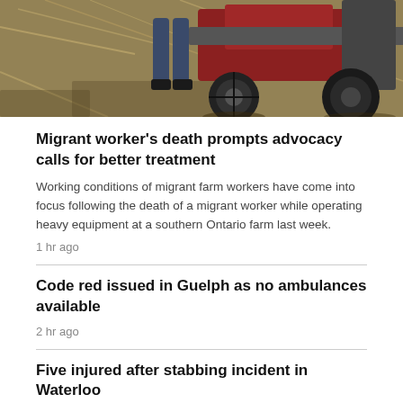[Figure (photo): A person standing near a red tractor/heavy agricultural equipment amid dry hay or straw in a farm field. The lower body and legs of the worker are visible alongside large tractor wheels.]
Migrant worker's death prompts advocacy calls for better treatment
Working conditions of migrant farm workers have come into focus following the death of a migrant worker while operating heavy equipment at a southern Ontario farm last week.
1 hr ago
Code red issued in Guelph as no ambulances available
2 hr ago
Five injured after stabbing incident in Waterloo